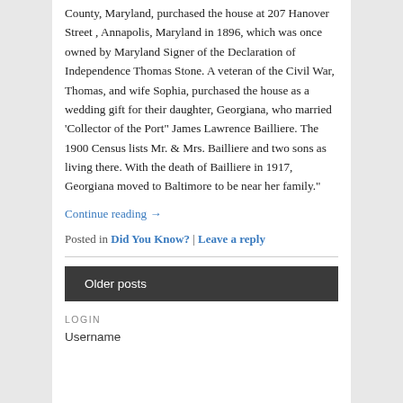County, Maryland, purchased the house at 207 Hanover Street , Annapolis, Maryland in 1896, which was once owned by Maryland Signer of the Declaration of Independence Thomas Stone. A veteran of the Civil War, Thomas, and wife Sophia, purchased the house as a wedding gift for their daughter, Georgiana, who married 'Collector of the Port" James Lawrence Bailliere. The 1900 Census lists Mr. & Mrs. Bailliere and two sons as living there. With the death of Bailliere in 1917, Georgiana moved to Baltimore to be near her family."
Continue reading →
Posted in Did You Know? | Leave a reply
Older posts
LOGIN
Username